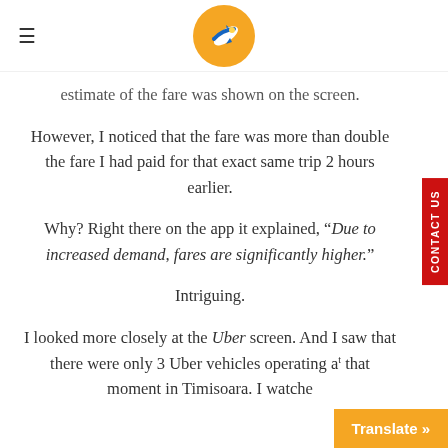≡ [airplane logo]
estimate of the fare was shown on the screen.
However, I noticed that the fare was more than double the fare I had paid for that exact same trip 2 hours earlier.
Why? Right there on the app it explained, "Due to increased demand, fares are significantly higher."
Intriguing.
I looked more closely at the Uber screen. And I saw that there were only 3 Uber vehicles operating at that moment in Timisoara. I watche[d]